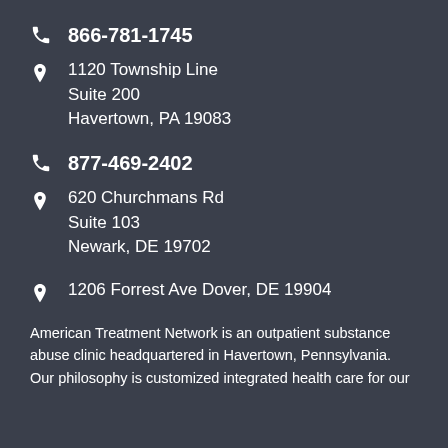866-781-1745
1120 Township Line
Suite 200
Havertown, PA 19083
877-469-2402
620 Churchmans Rd
Suite 103
Newark, DE 19702
1206 Forrest Ave Dover, DE 19904
American Treatment Network is an outpatient substance abuse clinic headquartered in Havertown, Pennsylvania. Our philosophy is customized integrated health care for our